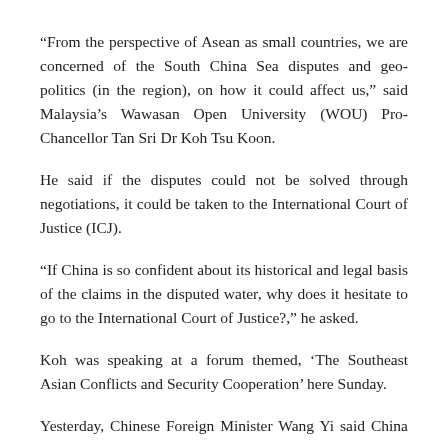“From the perspective of Asean as small countries, we are concerned of the South China Sea disputes and geo-politics (in the region), on how it could affect us,” said Malaysia’s Wawasan Open University (WOU) Pro-Chancellor Tan Sri Dr Koh Tsu Koon.
He said if the disputes could not be solved through negotiations, it could be taken to the International Court of Justice (ICJ).
“If China is so confident about its historical and legal basis of the claims in the disputed water, why does it hesitate to go to the International Court of Justice?,” he asked.
Koh was speaking at a forum themed, ‘The Southeast Asian Conflicts and Security Cooperation’ here Sunday.
Yesterday, Chinese Foreign Minister Wang Yi said China was a